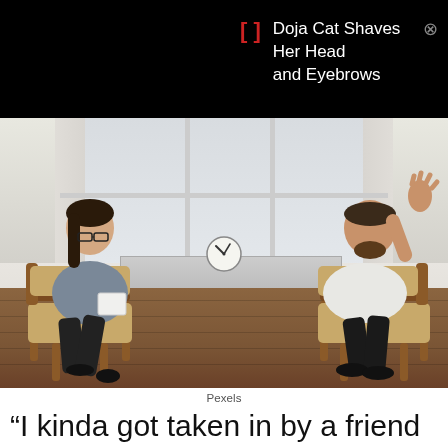[Figure (screenshot): Black ad banner showing notification: red bracket icon, text 'Doja Cat Shaves Her Head and Eyebrows' in white, with close X button]
[Figure (photo): Two people sitting across from each other in wooden armchairs in a bright room with large windows. A woman on the left wearing glasses holds a notepad. A bearded man on the right gestures with his hand raised. A round clock is visible between them on the windowsill. Hardwood floor visible.]
Pexels
“I kinda got taken in by a friend and